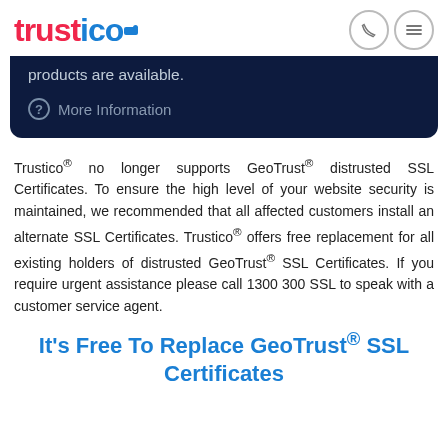trustico
products are available.
? More Information
Trustico® no longer supports GeoTrust® distrusted SSL Certificates. To ensure the high level of your website security is maintained, we recommended that all affected customers install an alternate SSL Certificates. Trustico® offers free replacement for all existing holders of distrusted GeoTrust® SSL Certificates. If you require urgent assistance please call 1300 300 SSL to speak with a customer service agent.
It's Free To Replace GeoTrust® SSL Certificates